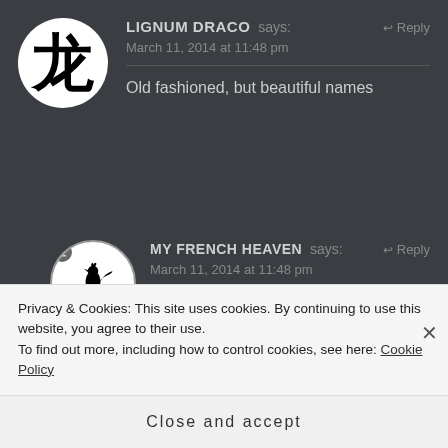[Figure (illustration): Circular avatar with Chinese character 龙 (dragon) in black on white background]
LIGNUM DRACO says:
March 11, 2014 at 11:48 pm
↩ Reply
Old fashioned, but beautiful names
[Figure (illustration): Circular avatar with weathervane/rooster illustration on white background, with small user badge icon]
MY FRENCH HEAVEN says:
March 11, 2014 at 11:48 pm
↩ Reply
🙂
Privacy & Cookies: This site uses cookies. By continuing to use this website, you agree to their use.
To find out more, including how to control cookies, see here: Cookie Policy
Close and accept